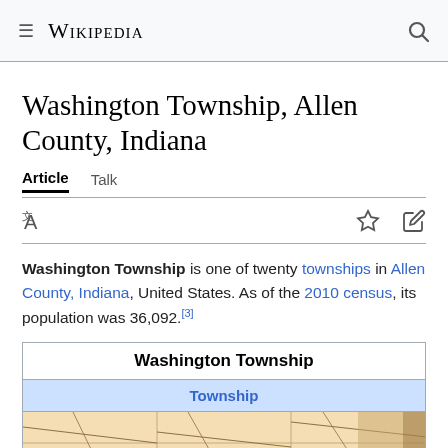≡ WIKIPEDIA 🔍
Washington Township, Allen County, Indiana
Article   Talk
Washington Township is one of twenty townships in Allen County, Indiana, United States. As of the 2010 census, its population was 36,092.[3]
| Washington Township |
| --- |
| Township |
| [map image] |